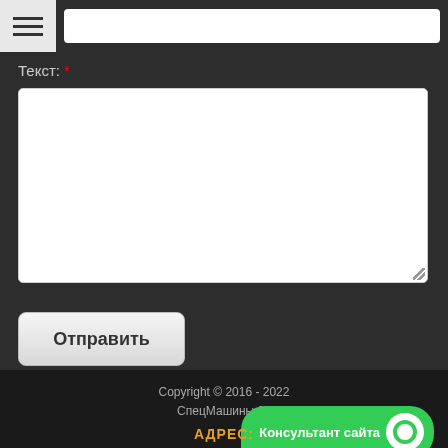[Figure (screenshot): Website form page with dark background. Top area has hamburger menu icon and search input field. Below is a label 'Текст: *' with a large white textarea input. A submit button labeled 'Отправить' is below. Footer section shows copyright text, a green 'Консультант сайта' chat button, and an 'АДРЕС:' label in orange.]
Текст: *
Отправить
Copyright © 2016 - 2022
СпецМашины 69
Консультант сайта
АДРЕС: